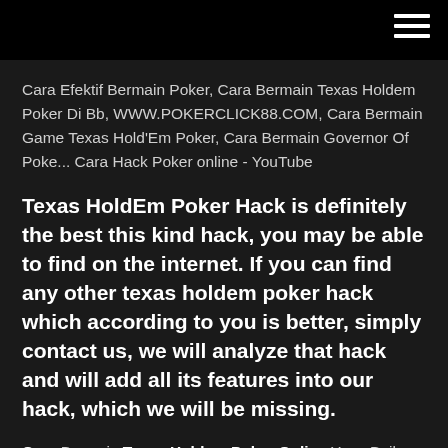Cara Efektif Bermain Poker, Cara Bermain Texas Holdem Poker Di Bb, WWW.POKERCLICK88.COM, Cara Bermain Game Texas Hold'Em Poker, Cara Bermain Governor Of Poke... Cara Hack Poker online - YouTube
Texas HoldEm Poker Hack is definitely the best this kind hack, you may be able to find on the internet. If you can find any other texas holdem poker hack which according to you is better, simply contact us, we will analyze that hack and will add all its features into our hack, which we will be missing.
Cara Bermain Texas Holdem Poker Online Yang Baik dan